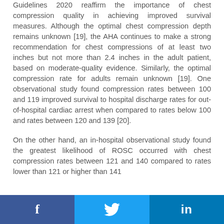Guidelines 2020 reaffirm the importance of chest compression quality in achieving improved survival measures. Although the optimal chest compression depth remains unknown [19], the AHA continues to make a strong recommendation for chest compressions of at least two inches but not more than 2.4 inches in the adult patient, based on moderate-quality evidence. Similarly, the optimal compression rate for adults remain unknown [19]. One observational study found compression rates between 100 and 119 improved survival to hospital discharge rates for out-of-hospital cardiac arrest when compared to rates below 100 and rates between 120 and 139 [20].
On the other hand, an in-hospital observational study found the greatest likelihood of ROSC occurred with chest compression rates between 121 and 140 compared to rates lower than 121 or higher than 141
f  Twitter  in